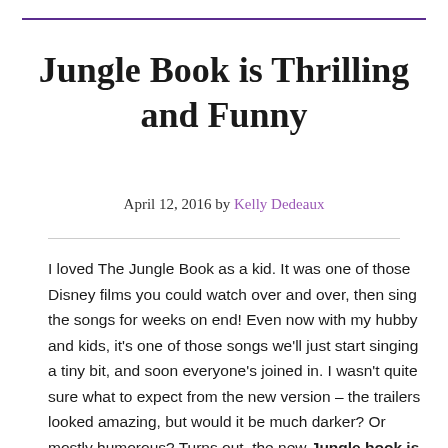Jungle Book is Thrilling and Funny
April 12, 2016 by Kelly Dedeaux
I loved The Jungle Book as a kid. It was one of those Disney films you could watch over and over, then sing the songs for weeks on end! Even now with my hubby and kids, it's one of those songs we'll just start singing a tiny bit, and soon everyone's joined in. I wasn't quite sure what to expect from the new version – the trailers looked amazing, but would it be much darker? Or mostly humorous? Turns out, the new Jungle book is thrilled AND funny, plus